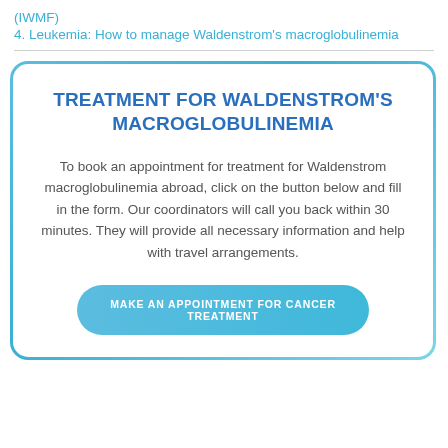(IWMF)
4. Leukemia: How to manage Waldenstrom's macroglobulinemia
TREATMENT FOR WALDENSTROM'S MACROGLOBULINEMIA
To book an appointment for treatment for Waldenstrom macroglobulinemia abroad, click on the button below and fill in the form. Our coordinators will call you back within 30 minutes. They will provide all necessary information and help with travel arrangements.
MAKE AN APPOINTMENT FOR CANCER TREATMENT